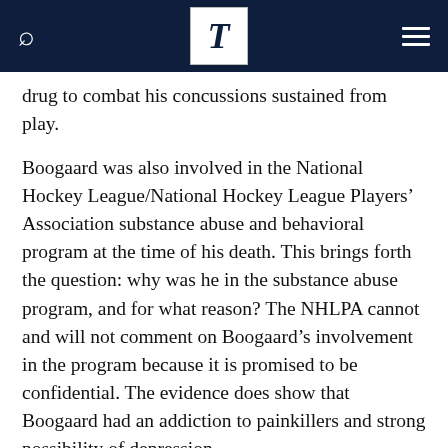T
drug to combat his concussions sustained from play.
Boogaard was also involved in the National Hockey League/National Hockey League Players’ Association substance abuse and behavioral program at the time of his death. This brings forth the question: why was he in the substance abuse program, and for what reason? The NHLPA cannot and will not comment on Boogaard’s involvement in the program because it is promised to be confidential. The evidence does show that Boogaard had an addiction to painkillers and strong possibility of depression.
“After repeated courageous attempts at rehabilitation and with the full support of the New York Rangers, the NHLPA and the NHL, Derek had been showing